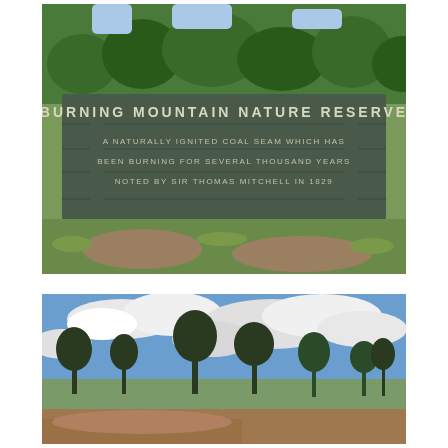[Figure (photo): Photograph of a wooden sign reading 'BURNING MOUNTAIN NATURE RESERVE' with smaller text 'A NATURALLY IGNITED COAL SEAM WHICH HAS BEEN BURNING FOR SEVERAL THOUSAND YEARS NOTED BY SIR THOMAS MITCHELL IN 1829'. The sign is set in a natural bush landscape with green grass, dirt ground, and eucalyptus trees in the background.]
[Figure (photo): Photograph of an open hilltop landscape with a blue sky filled with white clouds. In the middle ground are scattered eucalyptus trees. The foreground shows cleared reddish-brown dirt ground.]